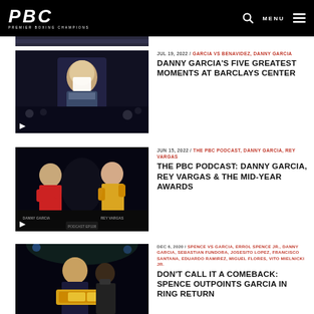PBC PREMIER BOXING CHAMPIONS | MENU
[Figure (photo): Partial article image strip at top]
[Figure (photo): Danny Garcia in hooded jacket with mask at arena, video icon overlay]
JUL 19, 2022 / GARCIA VS BENAVIDEZ, DANNY GARCIA
DANNY GARCIA'S FIVE GREATEST MOMENTS AT BARCLAYS CENTER
[Figure (photo): Two boxers facing each other - Danny Garcia vs Rey Vargas with PBC Podcast Episode banner, video icon overlay]
JUN 15, 2022 / THE PBC PODCAST, DANNY GARCIA, REY VARGAS
THE PBC PODCAST: DANNY GARCIA, REY VARGAS & THE MID-YEAR AWARDS
[Figure (photo): Errol Spence Jr. holding championship belts with trainer, video icon overlay]
DEC 6, 2020 / SPENCE VS GARCIA, ERROL SPENCE JR., DANNY GARCIA, SEBASTIAN FUNDORA, JOSESITO LOPEZ, FRANCISCO SANTANA, EDUARDO RAMIREZ, MIGUEL FLORES, VITO MIELNICKI JR.
DON'T CALL IT A COMEBACK: SPENCE OUTPOINTS GARCIA IN RING RETURN